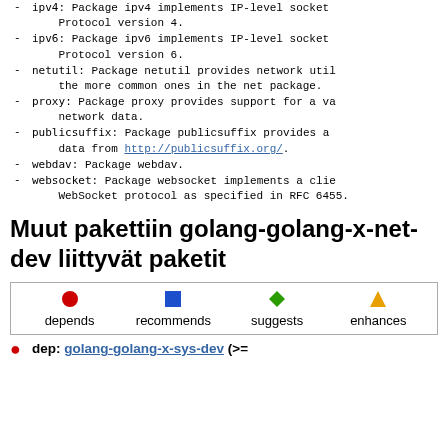ipv4: Package ipv4 implements IP-level socket options for the Internet Protocol version 4.
ipv6: Package ipv6 implements IP-level socket options for the Internet Protocol version 6.
netutil: Package netutil provides network utility functions, complementing the more common ones in the net package.
proxy: Package proxy provides support for a variety of protocols to proxy network data.
publicsuffix: Package publicsuffix provides a public suffix list based on data from http://publicsuffix.org/.
webdav: Package webdav.
websocket: Package websocket implements a client and server for the WebSocket protocol as specified in RFC 6455.
Muut pakettiin golang-golang-x-net-dev liittyvät paketit
[Figure (other): Legend box showing four dependency types: depends (red circle), recommends (blue square), suggests (green diamond), enhances (yellow/orange triangle)]
dep: golang-golang-x-sys-dev (>=